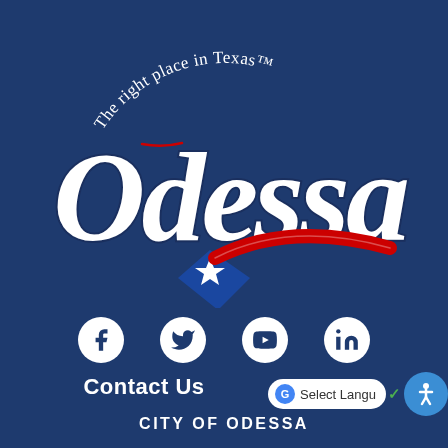[Figure (logo): City of Odessa, Texas logo. White cursive text reading 'Odessa' with tagline 'The right place in Texas™' arched above. Below the text is a shooting star graphic with a blue diamond shape containing a white star, and a red swoosh arc.]
[Figure (infographic): Four social media icons in white circles on navy background: Facebook, Twitter, YouTube, LinkedIn]
Contact Us
CITY OF ODESSA
[Figure (screenshot): Google Translate 'Select Language' bar and accessibility icon button overlay in bottom right corner]